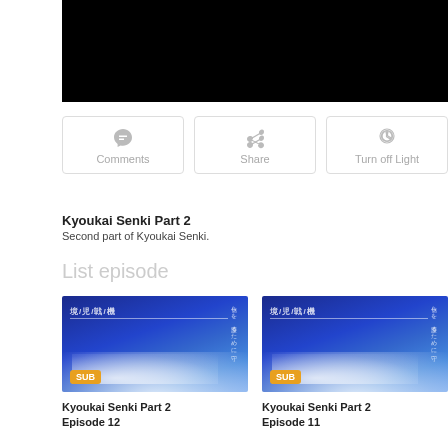[Figure (screenshot): Black video player area]
[Figure (screenshot): Action buttons row with Comments, Share, and Turn off Light buttons]
Kyoukai Senki Part 2
Second part of Kyoukai Senki.
List episode
[Figure (screenshot): Kyoukai Senki Part 2 Episode 12 thumbnail with SUB badge and anime sky background]
Kyoukai Senki Part 2 Episode 12
[Figure (screenshot): Kyoukai Senki Part 2 Episode 11 thumbnail with SUB badge and anime sky background]
Kyoukai Senki Part 2 Episode 11